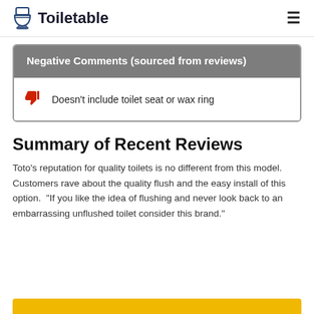Toiletable
Negative Comments (sourced from reviews)
Doesn't include toilet seat or wax ring
Summary of Recent Reviews
Toto's reputation for quality toilets is no different from this model.  Customers rave about the quality flush and the easy install of this option.  “If you like the idea of flushing and never look back to an embarrassing unflushed toilet consider this brand.”